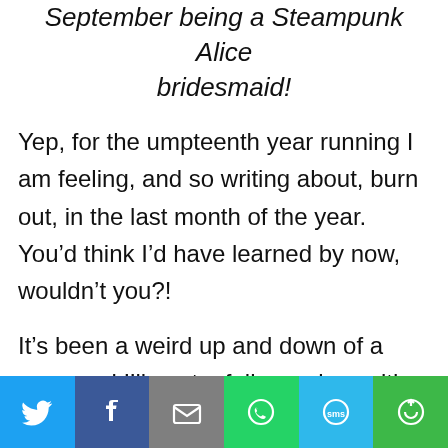September being a Steampunk Alice bridesmaid!
Yep, for the umpteenth year running I am feeling, and so writing about, burn out, in the last month of the year. You’d think I’d have learned by now, wouldn’t you?!
It’s been a weird up and down of a year, and I’ll post a full round up with pictures and links and stuff over the festive period, but I felt the need to waffle into
[Figure (infographic): Social sharing bar with icons for Twitter, Facebook, Email, WhatsApp, SMS, and More]